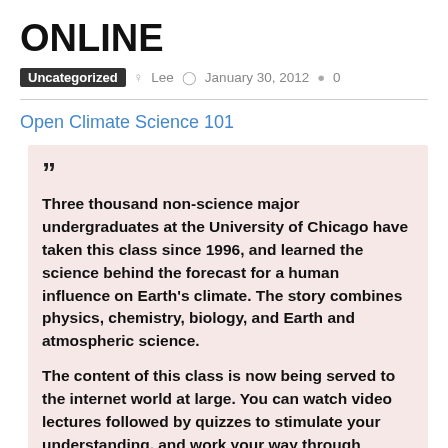ONLINE
Uncategorized  Lee  January 30, 2012  0
Open Climate Science 101
Three thousand non-science major undergraduates at the University of Chicago have taken this class since 1996, and learned the science behind the forecast for a human influence on Earth's climate. The story combines physics, chemistry, biology, and Earth and atmospheric science.

The content of this class is now being served to the internet world at large. You can watch video lectures followed by quizzes to stimulate your understanding, and work your way through tutorial exercises letting you get hands-on with interactive models and data.